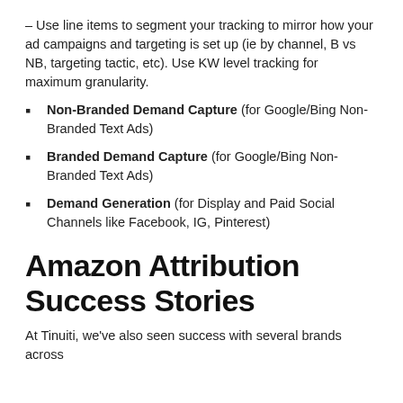– Use line items to segment your tracking to mirror how your ad campaigns and targeting is set up (ie by channel, B vs NB, targeting tactic, etc). Use KW level tracking for maximum granularity.
Non-Branded Demand Capture (for Google/Bing Non-Branded Text Ads)
Branded Demand Capture (for Google/Bing Non-Branded Text Ads)
Demand Generation (for Display and Paid Social Channels like Facebook, IG, Pinterest)
Amazon Attribution Success Stories
At Tinuiti, we've also seen success with several brands across